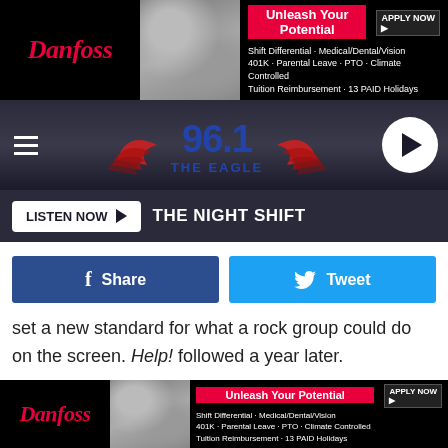[Figure (screenshot): Top Danfoss advertisement banner: logo on dark background, group photo, 'Unleash Your Potential' headline in red, benefits text, APPLY NOW button]
[Figure (logo): 96.1 The Eagle radio station header with hamburger menu, eagle wings logo, and play button circle]
LISTEN NOW ▶  THE NIGHT SHIFT
f Share
Tweet
set a new standard for what a rock group could do on the screen. Help! followed a year later.
The search for the Beatles' third project proved more difficult, and the ideas considered ranged from lending their voices to a Disney cartoon to a film adaptation of The Lord of the Rings to movies tailor-made for them. Eventually, they chose to do everything in-house, writing and directing
[Figure (screenshot): Bottom Danfoss advertisement banner: logo on dark background, group photo, 'Unleash Your Potential' headline in red, benefits text, APPLY NOW button]